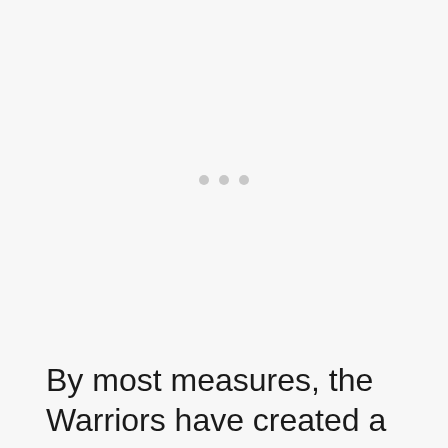[Figure (other): Large nearly blank light gray area with three small light gray dots centered near the vertical midpoint, suggesting a loading or placeholder image region.]
By most measures, the Warriors have created a basketball dynasty.